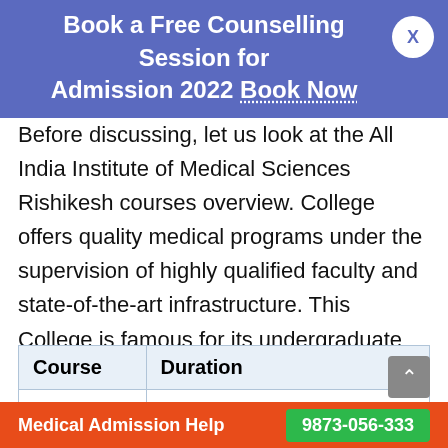Book a Free Counselling Session for Admission 2022 Book Now
Before discussing, let us look at the All India Institute of Medical Sciences Rishikesh courses overview. College offers quality medical programs under the supervision of highly qualified faculty and state-of-the-art infrastructure. This College is famous for its undergraduate and postgraduate medical programs(MBBS).
| Course | Duration |
| --- | --- |
| MBBS | 4.6+1 year Internship |
Medical Admission Help  9873-056-333